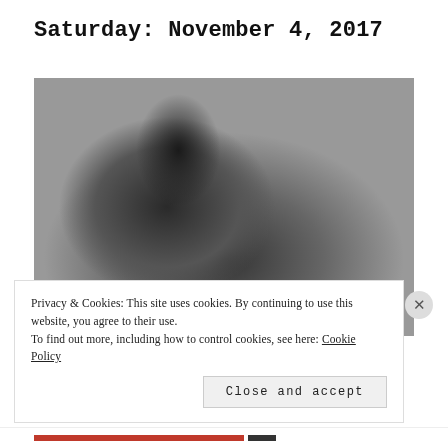Saturday: November 4, 2017
[Figure (photo): Black and white photograph of a young man with curly dark hair wearing a black t-shirt, leaning over DJ or audio equipment in what appears to be a studio or performance setting. Speaker stands visible in background.]
Privacy & Cookies: This site uses cookies. By continuing to use this website, you agree to their use.
To find out more, including how to control cookies, see here: Cookie Policy
Close and accept